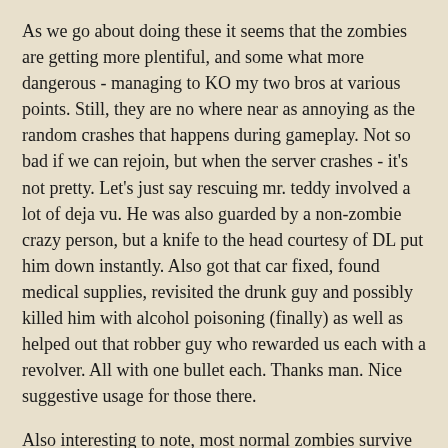As we go about doing these it seems that the zombies are getting more plentiful, and some what more dangerous - managing to KO my two bros at various points. Still, they are no where near as annoying as the random crashes that happens during gameplay. Not so bad if we can rejoin, but when the server crashes - it's not pretty. Let's just say rescuing mr. teddy involved a lot of deja vu. He was also guarded by a non-zombie crazy person, but a knife to the head courtesy of DL put him down instantly. Also got that car fixed, found medical supplies, revisited the drunk guy and possibly killed him with alcohol poisoning (finally) as well as helped out that robber guy who rewarded us each with a revolver. All with one bullet each. Thanks man. Nice suggestive usage for those there.
Also interesting to note, most normal zombies survive being hit by a speeding car so our old Battlefield strategy which we term "Panzer Jeep", is not so effective here. An upgraded weapon seems to do more damage. Not having been hit by a speeding car or an upgraded weapon myself I can't really claim to know which one would hurt more, and I hope I never